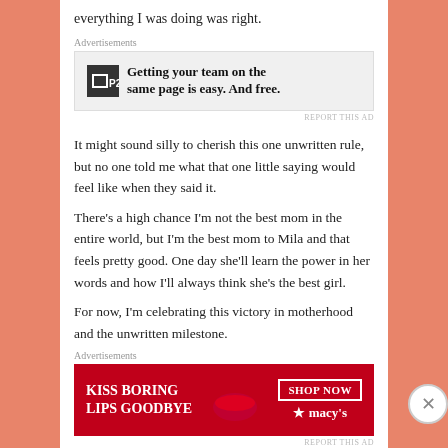everything I was doing was right.
Advertisements
[Figure (screenshot): Advertisement for P2 — 'Getting your team on the same page is easy. And free.']
REPORT THIS AD
It might sound silly to cherish this one unwritten rule, but no one told me what that one little saying would feel like when they said it.
There's a high chance I'm not the best mom in the entire world, but I'm the best mom to Mila and that feels pretty good. One day she'll learn the power in her words and how I'll always think she's the best girl.
For now, I'm celebrating this victory in motherhood and the unwritten milestone.
Advertisements
[Figure (screenshot): Advertisement for Macy's — 'KISS BORING LIPS GOODBYE' with SHOP NOW button and Macy's logo]